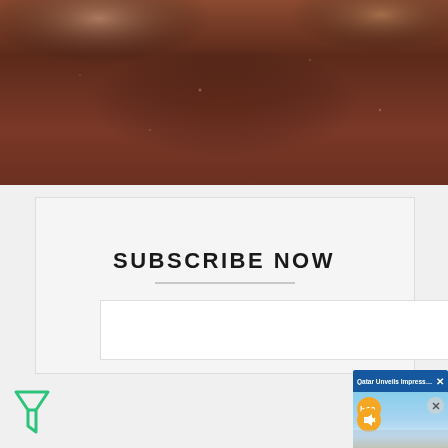[Figure (photo): Top portion of a webpage screenshot showing a dark reddish-brown wooden surface with hands visible at the top, partially cropped]
[Figure (screenshot): Subscribe Now section with a text input field and dark submit button, plus a filter/funnel icon on the left side]
SUBSCRIBE NOW
[Figure (screenshot): Ad overlay popup in bottom-right area showing 'Qatar Unveils Impressive Tourist Vi...' with a b60 video player thumbnail showing a city skyline over water]